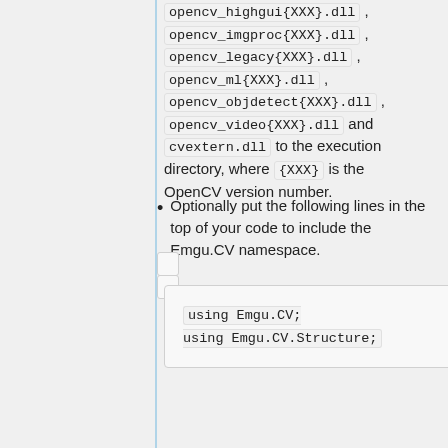opencv_highgui{XXX}.dll , opencv_imgproc{XXX}.dll , opencv_legacy{XXX}.dll , opencv_ml{XXX}.dll , opencv_objdetect{XXX}.dll , opencv_video{XXX}.dll and cvextern.dll to the execution directory, where {XXX} is the OpenCV version number.
Optionally put the following lines in the top of your code to include the Emgu.CV namespace.
[Figure (screenshot): Code snippet showing: using Emgu.CV; using Emgu.CV.Structure;]